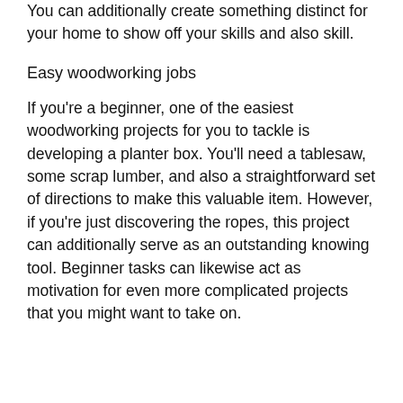You can additionally create something distinct for your home to show off your skills and also skill.
Easy woodworking jobs
If you're a beginner, one of the easiest woodworking projects for you to tackle is developing a planter box. You'll need a tablesaw, some scrap lumber, and also a straightforward set of directions to make this valuable item. However, if you're just discovering the ropes, this project can additionally serve as an outstanding knowing tool. Beginner tasks can likewise act as motivation for even more complicated projects that you might want to take on.